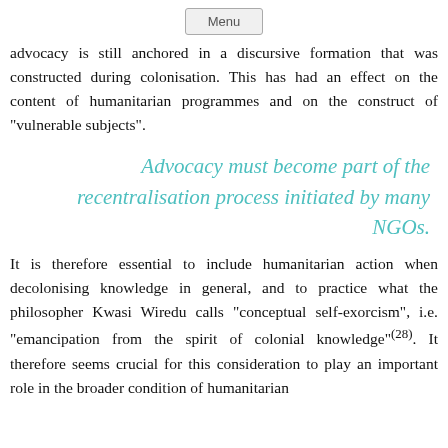Menu
advocacy is still anchored in a discursive formation that was constructed during colonisation. This has had an effect on the content of humanitarian programmes and on the construct of "vulnerable subjects".
Advocacy must become part of the recentralisation process initiated by many NGOs.
It is therefore essential to include humanitarian action when decolonising knowledge in general, and to practice what the philosopher Kwasi Wiredu calls "conceptual self-exorcism", i.e. "emancipation from the spirit of colonial knowledge"(28). It therefore seems crucial for this consideration to play an important role in the broader condition of humanitarian